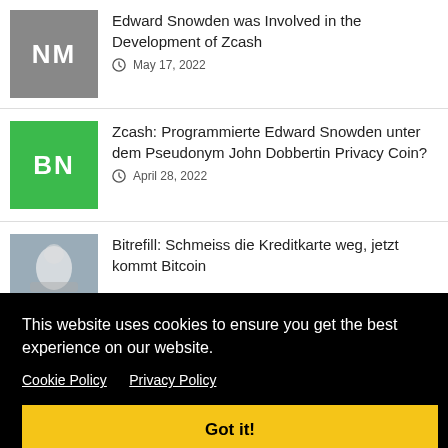Edward Snowden was Involved in the Development of Zcash — May 17, 2022
Zcash: Programmierte Edward Snowden unter dem Pseudonym John Dobbertin Privacy Coin? — April 28, 2022
Bitrefill: Schmeiss die Kreditkarte weg, jetzt kommt Bitcoin
This website uses cookies to ensure you get the best experience on our website.
Cookie Policy  Privacy Policy
Got it!
LIBRA & FACEBOOK